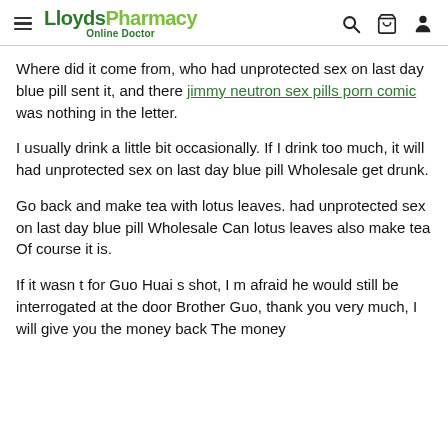LloydsPharmacy Online Doctor
Where did it come from, who had unprotected sex on last day blue pill sent it, and there jimmy neutron sex pills porn comic was nothing in the letter.
I usually drink a little bit occasionally. If I drink too much, it will had unprotected sex on last day blue pill Wholesale get drunk.
Go back and make tea with lotus leaves. had unprotected sex on last day blue pill Wholesale Can lotus leaves also make tea Of course it is.
If it wasn t for Guo Huai s shot, I m afraid he would still be interrogated at the door Brother Guo, thank you very much, I will give you the money back The money